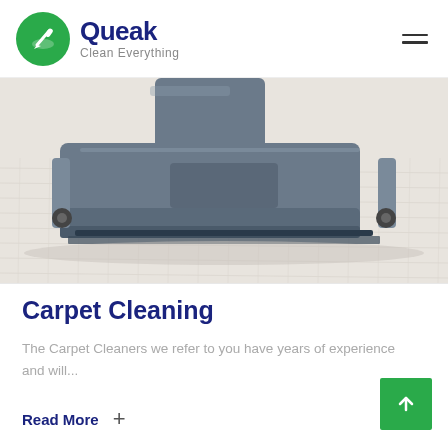Queak — Clean Everything
[Figure (photo): Close-up of a vacuum cleaner head on white carpet, carpet cleaning service hero image]
Carpet Cleaning
The Carpet Cleaners we refer to you have years of experience and will...
Read More +